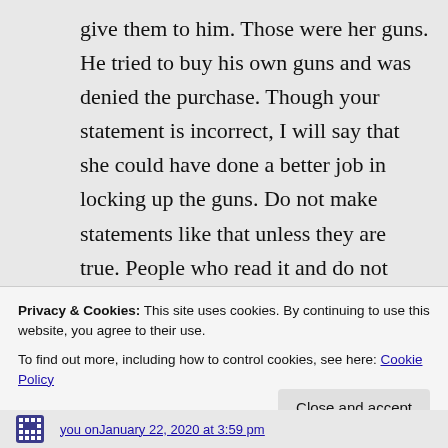give them to him. Those were her guns. He tried to buy his own guns and was denied the purchase. Though your statement is incorrect, I will say that she could have done a better job in locking up the guns. Do not make statements like that unless they are true. People who read it and do not know all the information, will pick that up and believe she actually gave him the
Privacy & Cookies: This site uses cookies. By continuing to use this website, you agree to their use.
To find out more, including how to control cookies, see here: Cookie Policy
Close and accept
you on January 22, 2020 at 3:59 pm